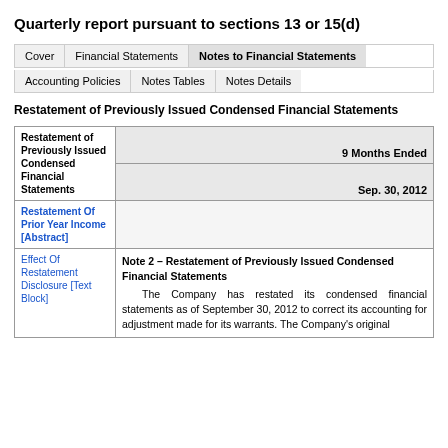Quarterly report pursuant to sections 13 or 15(d)
Restatement of Previously Issued Condensed Financial Statements
| Restatement of Previously Issued Condensed Financial Statements | 9 Months Ended Sep. 30, 2012 |
| --- | --- |
| Restatement Of Prior Year Income [Abstract] |  |
| Effect Of Restatement Disclosure [Text Block] | Note 2 – Restatement of Previously Issued Condensed Financial Statements

The Company has restated its condensed financial statements as of September 30, 2012 to correct its accounting for adjustment made for its warrants. The Company's original |